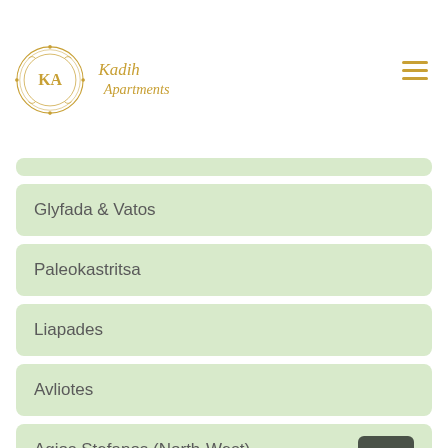Kadih Apartments logo and navigation
Glyfada & Vatos
Paleokastritsa
Liapades
Avliotes
Agios Stefanos (North-West)
Afionas
Karousades